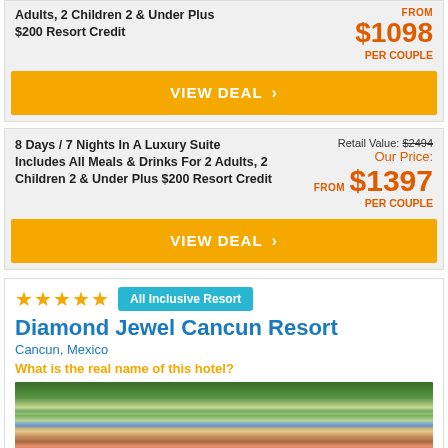Adults, 2 Children 2 & Under Plus $200 Resort Credit
FROM $1098 PER COUPLE
VIEW DEAL
8 Days / 7 Nights In A Luxury Suite Includes All Meals & Drinks For 2 Adults, 2 Children 2 & Under Plus $200 Resort Credit
Retail Value: $2494 Our Price: FROM $1397 PER COUPLE
VIEW DEAL
★★★★★ All Inclusive Resort
Diamond Jewel Cancun Resort
Cancun, Mexico
What is the real name of this hotel?
[Figure (photo): Aerial view of Diamond Jewel Cancun Resort showing buildings, pool, and surrounding lush green vegetation]